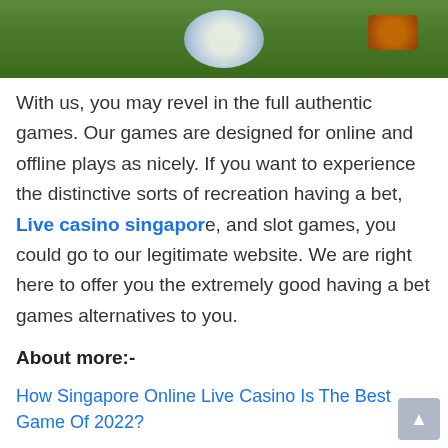[Figure (photo): Casino-themed image showing a white soccer ball, casino chips, cards and green felt background]
With us, you may revel in the full authentic games. Our games are designed for online and offline plays as nicely. If you want to experience the distinctive sorts of recreation having a bet, Live casino singapore, and slot games, you could go to our legitimate website. We are right here to offer you the extremely good having a bet games alternatives to you.
About more:-
How Singapore Online Live Casino Is The Best Game Of 2022?
How to play Singapore Online Casino games?